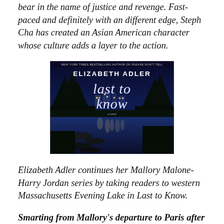bear in the name of justice and revenge. Fast-paced and definitely with an different edge, Steph Cha has created an Asian American character whose culture adds a layer to the action.
[Figure (illustration): Book cover of 'Last to Know' by Elizabeth Adler. Dark blue/night scene with a lake, trees, and lit buildings reflected in water. Author name 'ELIZABETH ADLER' at top in white uppercase letters. Title 'last to know' in large italic script. Tagline 'NEW YORK TIMES BESTSELLING AUTHOR OF PLEASE DON'T TELL' at very top in small text.]
Elizabeth Adler continues her Mallory Malone-Harry Jordan series by taking readers to western Massachusetts Evening Lake in Last to Know.
Smarting from Mallory's departure to Paris after breaking up with him, the Boston detective is